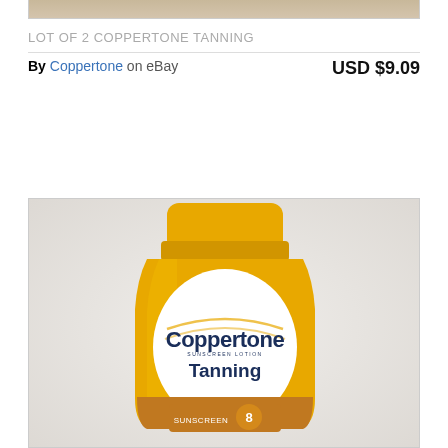[Figure (photo): Top portion of a product listing photo showing partial tanning lotion bottle, cropped at the top of the page]
LOT OF 2 COPPERTONE TANNING
By Coppertone on eBay    USD $9.09
[Figure (photo): Photo of a Coppertone Sunscreen Lotion Tanning bottle with yellow cap and SPF 8 label, against a white fabric background]